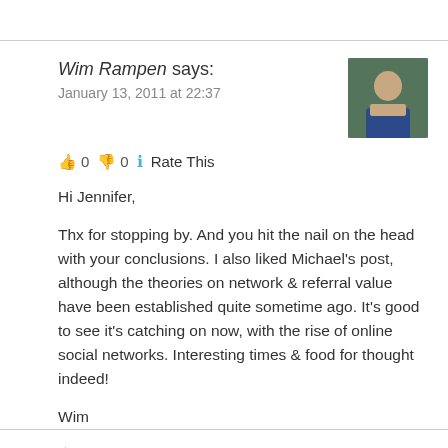Wim Rampen says:
January 13, 2011 at 22:37
👍 0 👎 0 ℹ Rate This
Hi Jennifer,

Thx for stopping by. And you hit the nail on the head with your conclusions. I also liked Michael's post, although the theories on network & referral value have been established quite sometime ago. It's good to see it's catching on now, with the rise of online social networks. Interesting times & food for thought indeed!

Wim
★ Like